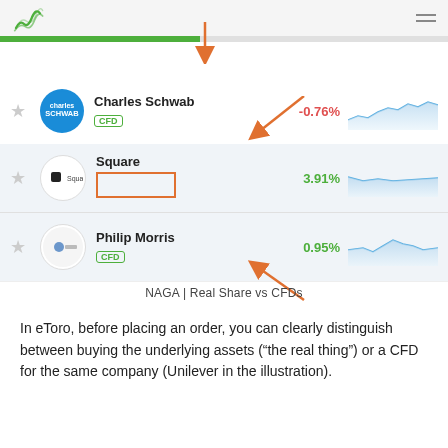[Figure (screenshot): NAGA platform screenshot showing Charles Schwab (-0.76%, CFD), Square (3.91%), and Philip Morris (0.95%, CFD) stock list with mini line charts and orange annotation arrows highlighting CFD badges.]
NAGA | Real Share vs CFDs
In eToro, before placing an order, you can clearly distinguish between buying the underlying assets (“the real thing”) or a CFD for the same company (Unilever in the illustration).